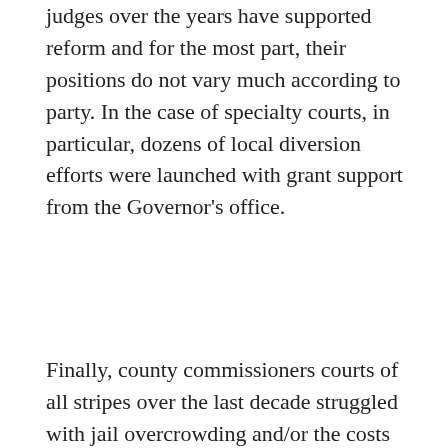judges over the years have supported reform and for the most part, their positions do not vary much according to party. In the case of specialty courts, in particular, dozens of local diversion efforts were launched with grant support from the Governor's office.
Finally, county commissioners courts of all stripes over the last decade struggled with jail overcrowding and/or the costs of massive, overbuilt jails that were constantly being launched. Today those pressures have mostly abated, but just a few years ago they were sometimes severe. Typically, jails are the largest line item in county budgets and their costs have driven local property tax increases across the state. Voters in Smith and Harris County rejected new jails and that seemed to free up county commissioners elsewhere to begin openly talking about alternatives to incarceration without seeming "soft on crime."